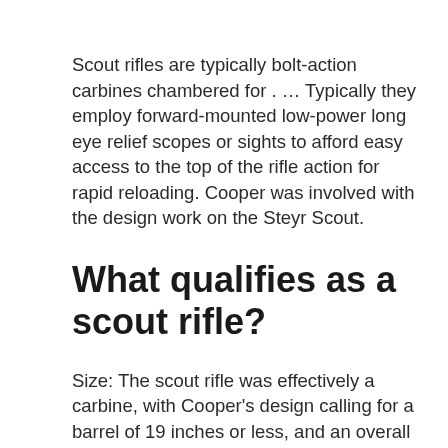Scout rifles are typically bolt-action carbines chambered for . ... Typically they employ forward-mounted low-power long eye relief scopes or sights to afford easy access to the top of the rifle action for rapid reloading. Cooper was involved with the design work on the Steyr Scout.
What qualifies as a scout rifle?
Size: The scout rifle was effectively a carbine, with Cooper's design calling for a barrel of 19 inches or less, and an overall length of 39 inches or shorter. Nowadays these shorter barrels on bolt guns are more